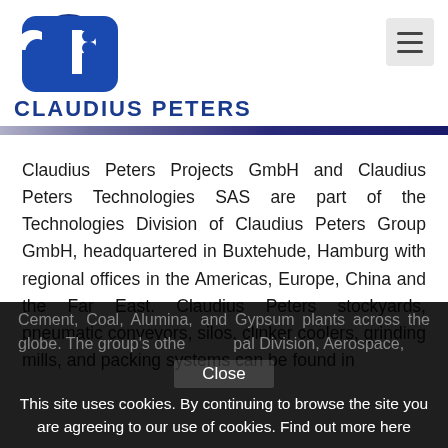[Figure (logo): Claudius Peters CP logo in blue with company name below]
Claudius Peters Projects GmbH and Claudius Peters Technologies SAS are part of the Technologies Division of Claudius Peters Group GmbH, headquartered in Buxtehude, Hamburg with regional offices in the Americas, Europe, China and the Far East. Claudius Peters stockyards, pneumatic conveyors, silos, clinker coolers, grinding mills, and packing systems can be found in Cement, Coal, Alumina, and Gypsum plants across the globe. The group's other principal Division, Aerospace,
This site uses cookies. By continuing to browse the site you are agreeing to our use of cookies. Find out more here